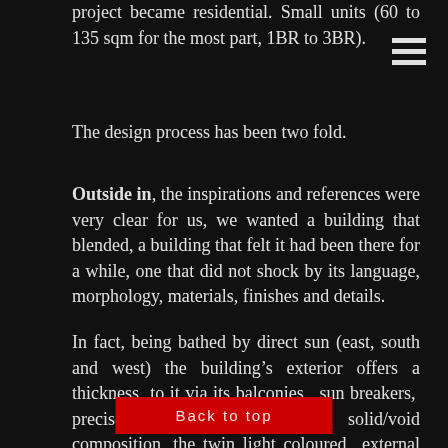project became residential. Small units (60 to 135 sqm for the most part, 1BR to 3BR).
[Figure (other): Hamburger menu icon — three horizontal white lines stacked vertically]
The design process has been two fold.
Outside in, the inspirations and references were very clear for us, we wanted a building that blended, a building that felt it had been there for a while, one that did not shock by its language, morphology, materials, finishes and details.
In fact, being bathed by direct sun (east, south and west) the building’s exterior offers a thickness to it via its balconies, sun breakers, precisely located planters and solid/void composition, the twin light coloured external renderings very typical of the series of buildings dotting that strip…all work into making this bu… e sun, “belong” to its context.
Back to top